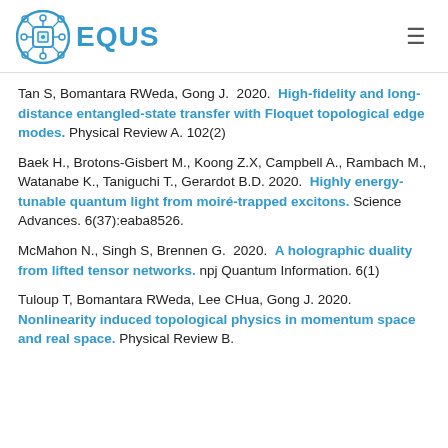EQUS
Tan S, Bomantara RWeda, Gong J. 2020. High-fidelity and long-distance entangled-state transfer with Floquet topological edge modes. Physical Review A. 102(2)
Baek H., Brotons-Gisbert M., Koong Z.X, Campbell A., Rambach M., Watanabe K., Taniguchi T., Gerardot B.D. 2020. Highly energy-tunable quantum light from moiré-trapped excitons. Science Advances. 6(37):eaba8526.
McMahon N., Singh S, Brennen G. 2020. A holographic duality from lifted tensor networks. npj Quantum Information. 6(1)
Tuloup T, Bomantara RWeda, Lee CHua, Gong J. 2020. Nonlinearity induced topological physics in momentum space and real space. Physical Review B.